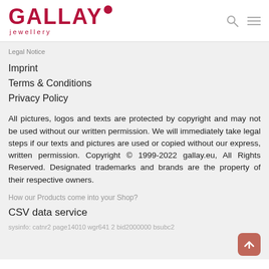[Figure (logo): Gallay Jewellery logo — brand name in dark red/crimson bold letters with a circular dot accent, and 'jewellery' in smaller spaced text below]
Legal Notice
Imprint
Terms & Conditions
Privacy Policy
All pictures, logos and texts are protected by copyright and may not be used without our written permission. We will immediately take legal steps if our texts and pictures are used or copied without our express, written permission. Copyright © 1999-2022 gallay.eu, All Rights Reserved. Designated trademarks and brands are the property of their respective owners.
How our Products come into your Shop?
CSV data service
sysinfo: catnr2 page14010 wgr641 2 bid2000000 bsubc2